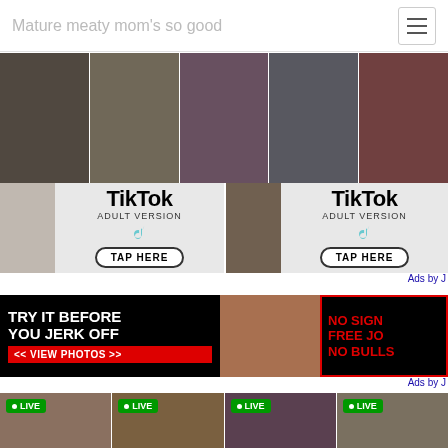Mature meaty mom's so good
[Figure (photo): Banner strip with multiple thumbnail photos]
[Figure (photo): Two TikTok Adult Version advertisement banners side by side]
Ads by J
[Figure (photo): Advertisement banner: TRY IT BEFORE YOU JERK OFF << VIEW PHOTOS >> and NO SIGN FREE JO NO BULLS]
Ads by J
[Figure (photo): Live webcam grid with bigdbryan69, redxbeard32, MikeFlora69, bigjake692]